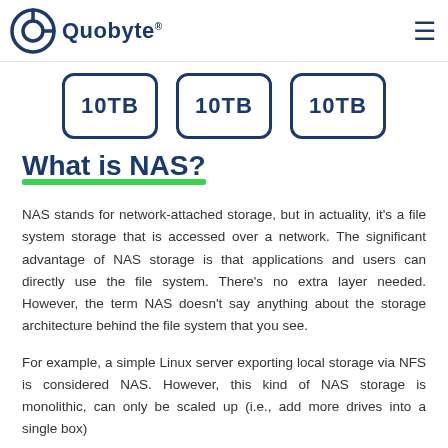Quobyte®
[Figure (illustration): Three storage boxes labeled 10TB each, shown as rounded rectangles with dark blue border]
What is NAS?
NAS stands for network-attached storage, but in actuality, it's a file system storage that is accessed over a network. The significant advantage of NAS storage is that applications and users can directly use the file system. There's no extra layer needed. However, the term NAS doesn't say anything about the storage architecture behind the file system that you see.
For example, a simple Linux server exporting local storage via NFS is considered NAS. However, this kind of NAS storage is monolithic, can only be scaled up (i.e., add more drives into a single box)